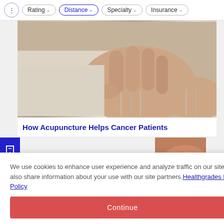⇅ Rating ∨  Distance ∨  Specialty ∨  Insurance ∨
[Figure (photo): Close-up photo of a person in a white coat holding acupuncture needles inserted into skin]
How Acupuncture Helps Cancer Patients
[Figure (photo): Partial photo of skin with acupuncture needles]
We use cookies to enhance user experience and analyze traffic on our site. We also share information about your use with our site partners. Healthgrades Privacy Policy
Continue
Access my Privacy Preferences